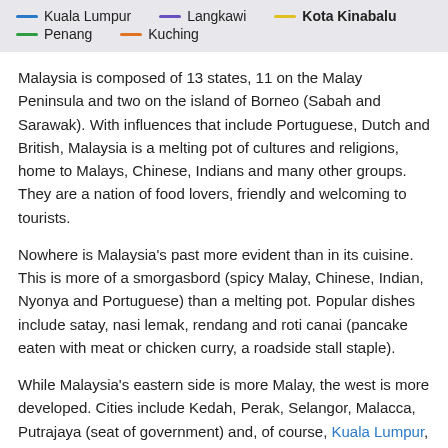[Figure (other): Legend bar showing colored lines for: Kuala Lumpur (blue), Langkawi (purple), Kota Kinabalu (yellow), Penang (green), Kuching (orange)]
Malaysia is composed of 13 states, 11 on the Malay Peninsula and two on the island of Borneo (Sabah and Sarawak). With influences that include Portuguese, Dutch and British, Malaysia is a melting pot of cultures and religions, home to Malays, Chinese, Indians and many other groups. They are a nation of food lovers, friendly and welcoming to tourists.
Nowhere is Malaysia's past more evident than in its cuisine. This is more of a smorgasbord (spicy Malay, Chinese, Indian, Nyonya and Portuguese) than a melting pot. Popular dishes include satay, nasi lemak, rendang and roti canai (pancake eaten with meat or chicken curry, a roadside stall staple).
While Malaysia's eastern side is more Malay, the west is more developed. Cities include Kedah, Perak, Selangor, Malacca, Putrajaya (seat of government) and, of course, Kuala Lumpur, the glittering capital, where most flights to Malaysia will land.
The eastern side of Malaysia is more traditional. Here you'll find the states of Kelantan, Pahang and Terengganu.